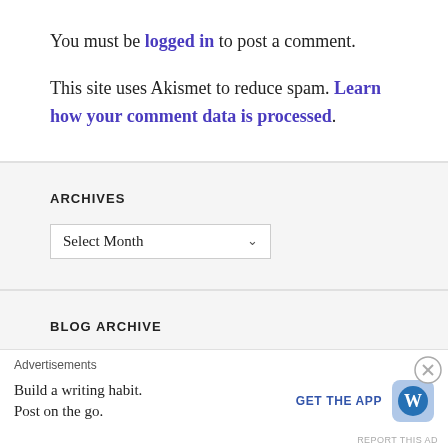You must be logged in to post a comment.
This site uses Akismet to reduce spam. Learn how your comment data is processed.
ARCHIVES
Select Month
BLOG ARCHIVE
Advertisements
Build a writing habit. Post on the go. GET THE APP